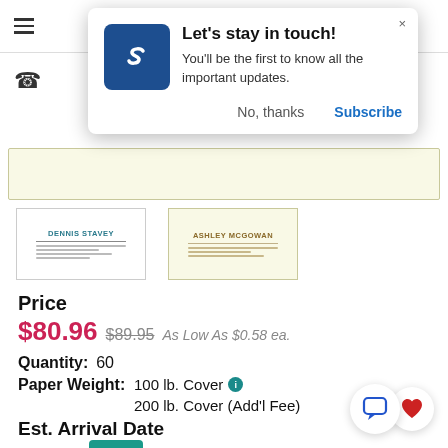[Figure (screenshot): Top navigation bar with hamburger menu icon and phone icon on the left]
[Figure (infographic): Popup modal: Let's stay in touch! with logo, body text, No thanks and Subscribe buttons]
[Figure (illustration): Two business card thumbnails side by side, one white and one cream/yellow]
Price
$80.96  $89.95  As Low As $0.58 ea.
Quantity:  60
Paper Weight:  100 lb. Cover  200 lb. Cover (Add'l Fee)
Est. Arrival  Date
Zip Code  GO